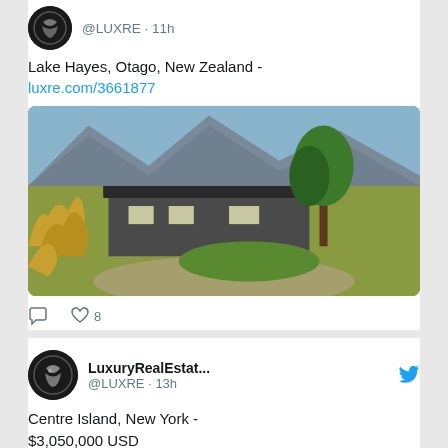[Figure (screenshot): Partial Twitter/social media feed showing two tweet cards from @LUXRE (LuxuryRealEstate) account. First tweet shows Lake Hayes, Otago, New Zealand listing with a photo of a house with mountains. Second tweet shows Centre Island, New York listing at $3,050,000 USD with a partial photo of waterfront property.]
@LUXRE · 11h
Lake Hayes, Otago, New Zealand -
luxre.com/3661877
8
LuxuryRealEstat...
@LUXRE · 13h
Centre Island, New York - $3,050,000 USD
luxre.com/3614119